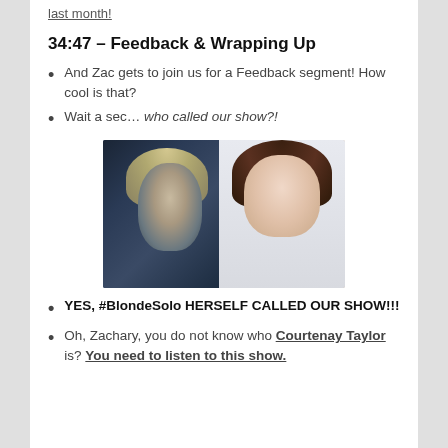last month!
34:47 – Feedback & Wrapping Up
And Zac gets to join us for a Feedback segment! How cool is that?
Wait a sec… who called our show?!
[Figure (photo): Split image: left side shows a blonde female sci-fi video game character in dark armor; right side shows a real woman with dark hair and a jewelry necklace smiling at camera.]
YES, #BlondeSolo HERSELF CALLED OUR SHOW!!!
Oh, Zachary, you do not know who Courtenay Taylor is? You need to listen to this show.